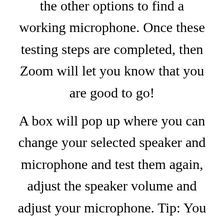the other options to find a working microphone. Once these testing steps are completed, then Zoom will let you know that you are good to go!
A box will pop up where you can change your selected speaker and microphone and test them again, adjust the speaker volume and adjust your microphone. Tip: You should always test your audio devices to ensure that they are working prior to joining or hosting a